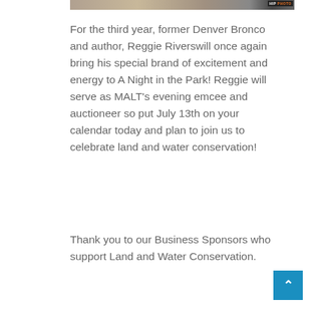[Figure (photo): Partial photo strip at top with HIP PHOTO watermark/badge]
For the third year, former Denver Bronco and author, Reggie Riverswill once again bring his special brand of excitement and energy to A Night in the Park! Reggie will serve as MALT’s evening emcee and auctioneer so put July 13th on your calendar today and plan to join us to celebrate land and water conservation!
Thank you to our Business Sponsors who support Land and Water Conservation.